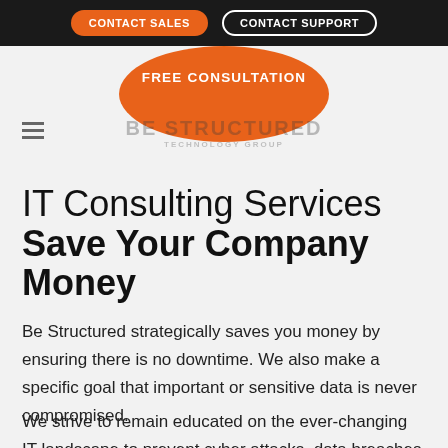CONTACT SALES   CONTACT SUPPORT
[Figure (screenshot): Orange blob/button with FREE CONSULTATION text, and Be Structured Technology Group logo watermark with hamburger menu icon]
IT Consulting Services Save Your Company Money
Be Structured strategically saves you money by ensuring there is no downtime. We also make a specific goal that important or sensitive data is never compromised.
We strive to remain educated on the ever-changing IT landscape to prevent cyber attacks, data breaches and destroyed hard drives.